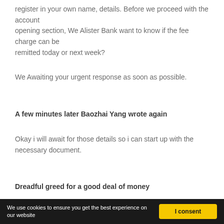register in your own name, details. Before we proceed with the account opening section, We Alister Bank want to know if the fee charge can be remitted today or next week?
We Awaiting your urgent response as soon as possible.
A few minutes later Baozhai Yang wrote again
Okay i will await for those details so i can start up with the necessary document.
Dreadful greed for a good deal of money
We use cookies to ensure you get the best experience on our website